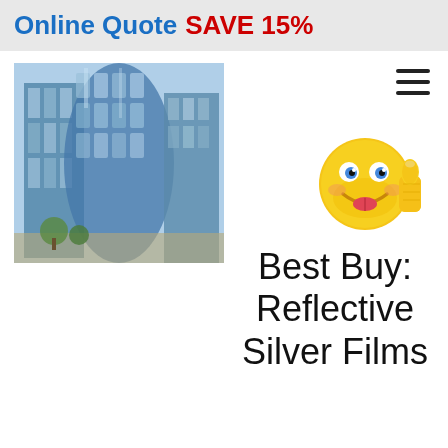Online Quote SAVE 15%
[Figure (photo): Photo of a glass building with reflective windows showing city skyline reflections]
[Figure (illustration): Yellow smiley face emoji with thumbs up gesture]
Best Buy: Reflective Silver Films
The reflective silver films provide higher heat reduction at a